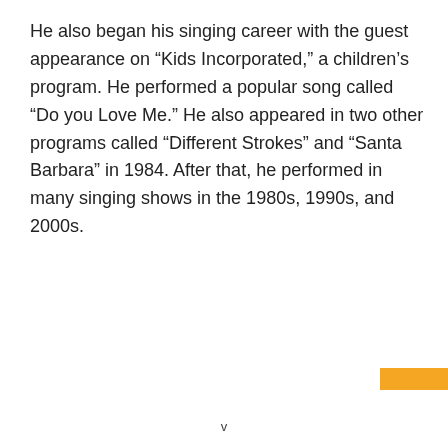He also began his singing career with the guest appearance on “Kids Incorporated,” a children’s program. He performed a popular song called “Do you Love Me.” He also appeared in two other programs called “Different Strokes” and “Santa Barbara” in 1984. After that, he performed in many singing shows in the 1980s, 1990s, and 2000s.
v